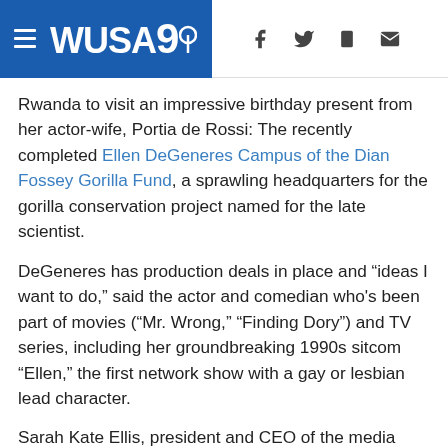WUSA9 (navigation header with menu icon, logo, and social/share icons)
Rwanda to visit an impressive birthday present from her actor-wife, Portia de Rossi: The recently completed Ellen DeGeneres Campus of the Dian Fossey Gorilla Fund, a sprawling headquarters for the gorilla conservation project named for the late scientist.
DeGeneres has production deals in place and “ideas I want to do,” said the actor and comedian who's been part of movies (“Mr. Wrong,” “Finding Dory”) and TV series, including her groundbreaking 1990s sitcom “Ellen,” the first network show with a gay or lesbian lead character.
Sarah Kate Ellis, president and CEO of the media advocacy group GLAAD, saluted DeGeneres' contribution then and now.
Her legacy "is rooted in being one of most influential pioneers in the entertainment industry when it comes to LGBTQ visibility," Ellis said in an email. DeGeneres has